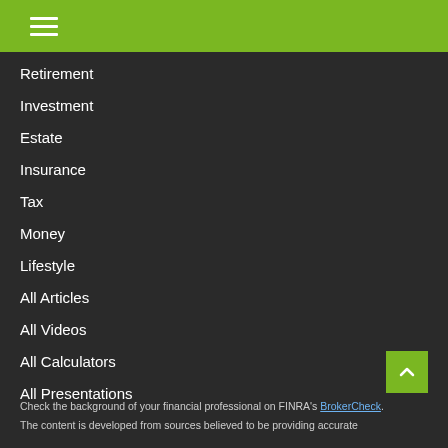Navigation menu header with hamburger icon
Retirement
Investment
Estate
Insurance
Tax
Money
Lifestyle
All Articles
All Videos
All Calculators
All Presentations
Check the background of your financial professional on FINRA's BrokerCheck.
The content is developed from sources believed to be providing accurate